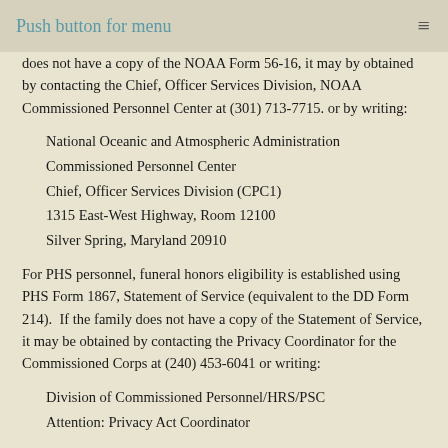Push button for menu
does not have a copy of the NOAA Form 56-16, it may by obtained by contacting the Chief, Officer Services Division, NOAA Commissioned Personnel Center at (301) 713-7715. or by writing:
National Oceanic and Atmospheric Administration
Commissioned Personnel Center
Chief, Officer Services Division (CPC1)
1315 East-West Highway, Room 12100
Silver Spring, Maryland 20910
For PHS personnel, funeral honors eligibility is established using PHS Form 1867, Statement of Service (equivalent to the DD Form 214). If the family does not have a copy of the Statement of Service, it may be obtained by contacting the Privacy Coordinator for the Commissioned Corps at (240) 453-6041 or writing:
Division of Commissioned Personnel/HRS/PSC
Attention: Privacy Act Coordinator